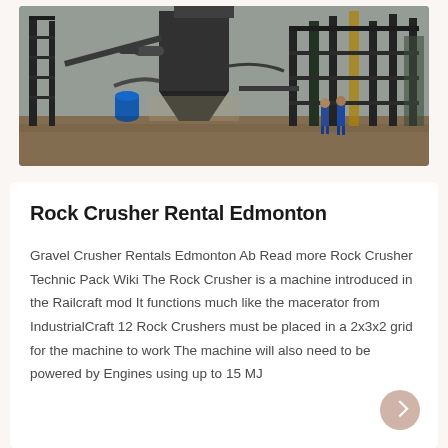[Figure (photo): Industrial rock crushing / mining facility with heavy machinery, conveyor structures, steel frameworks, dust collection equipment, a blue barrel visible, and two workers in blue coveralls standing in the background on sandy/muddy ground. Overcast sky visible.]
Rock Crusher Rental Edmonton
Gravel Crusher Rentals Edmonton Ab Read more Rock Crusher Technic Pack Wiki The Rock Crusher is a machine introduced in the Railcraft mod It functions much like the macerator from IndustrialCraft 12 Rock Crushers must be placed in a 2x3x2 grid for the machine to work The machine will also need to be powered by Engines using up to 15 MJ